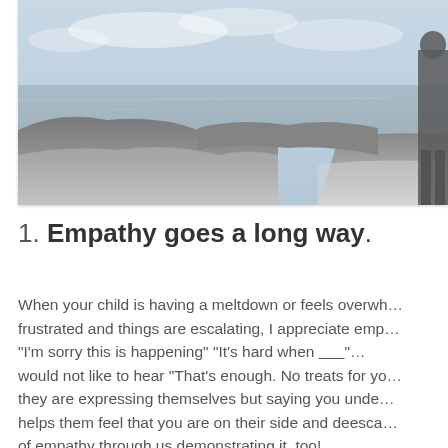[Figure (photo): A person standing on rocky shoreline by the ocean, with cloudy sky and calm water in the background.]
1. Empathy goes a long way.
When your child is having a meltdown or feels overwhelmed, frustrated and things are escalating, I appreciate empathy. "I'm sorry this is happening" "It's hard when ______" would not like to hear "That's enough. No treats for you." they are expressing themselves but saying you understand helps them feel that you are on their side and deescalate of empathy through us demonstrating it, too!